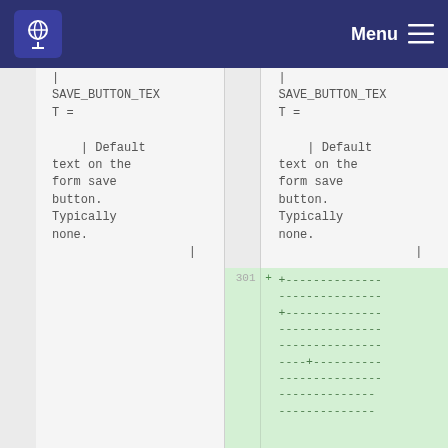Menu
SAVE_BUTTON_TEXT =

    | Default text on the form save button. Typically none.
SAVE_BUTTON_TEXT =

    | Default text on the form save button. Typically none.
301  +  +------------------------------+------------------------------+---------------------------------------------+---------+-----+----------
+--------------------------